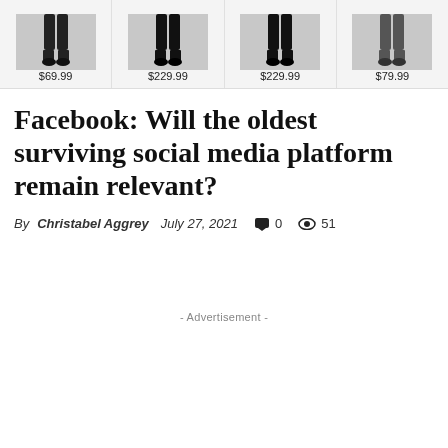[Figure (other): Shopping ad strip showing four figures wearing pants/suits at prices $69.99, $229.99, $229.99, $79.99]
Facebook: Will the oldest surviving social media platform remain relevant?
By Christabel Aggrey  July 27, 2021  💬 0  👁 51
- Advertisement -